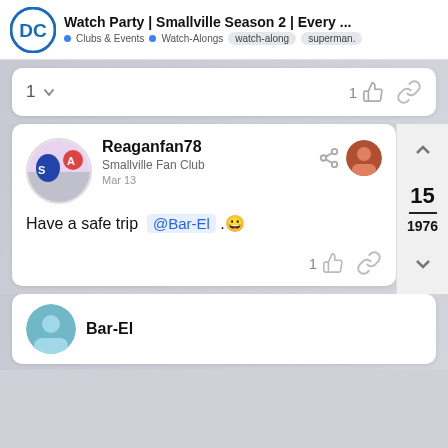Watch Party | Smallville Season 2 | Every ... • Clubs & Events • Watch-Alongs watch-along superman
1 ↓  1 👍 🔗
Reaganfan78
Smallville Fan Club
Mar 13
Have a safe trip @Bar-El .😀
1 👍 🔗
15
1976
Bar-El